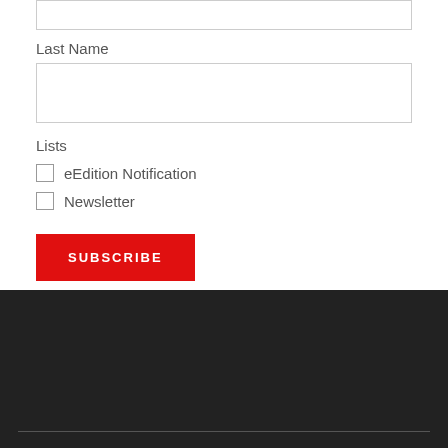Last Name
[Figure (other): Empty text input field for Last Name]
Lists
eEdition Notification
Newsletter
SUBSCRIBE